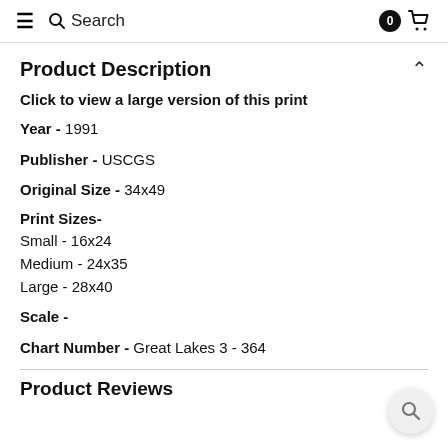≡  🔍 Search   0 🛒
Product Description
Click to view a large version of this print
Year - 1991
Publisher - USCGS
Original Size - 34x49
Print Sizes-
Small - 16x24
Medium - 24x35
Large - 28x40
Scale -
Chart Number - Great Lakes 3 - 364
Product Reviews